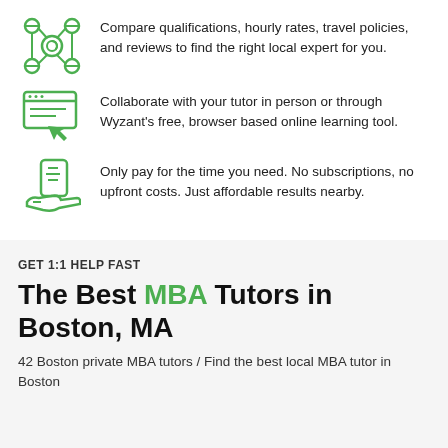Compare qualifications, hourly rates, travel policies, and reviews to find the right local expert for you.
Collaborate with your tutor in person or through Wyzant's free, browser based online learning tool.
Only pay for the time you need. No subscriptions, no upfront costs. Just affordable results nearby.
GET 1:1 HELP FAST
The Best MBA Tutors in Boston, MA
42 Boston private MBA tutors / Find the best local MBA tutor in Boston